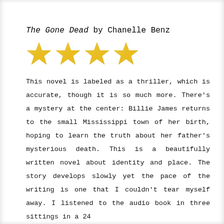The Gone Dead by Chanelle Benz
[Figure (illustration): Four gold star emoji rating symbols displayed in a row]
This novel is labeled as a thriller, which is accurate, though it is so much more. There's a mystery at the center: Billie James returns to the small Mississippi town of her birth, hoping to learn the truth about her father's mysterious death. This is a beautifully written novel about identity and place. The story develops slowly yet the pace of the writing is one that I couldn't tear myself away. I listened to the audio book in three sittings in a 24